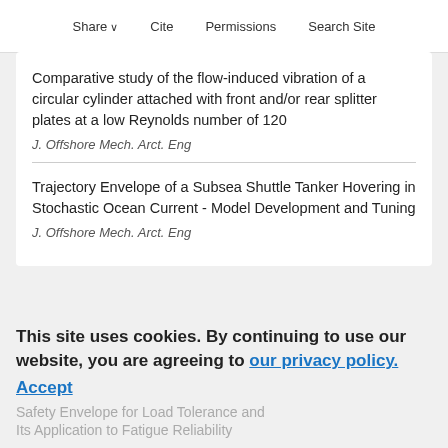Share   Cite   Permissions   Search Site
Comparative study of the flow-induced vibration of a circular cylinder attached with front and/or rear splitter plates at a low Reynolds number of 120
J. Offshore Mech. Arct. Eng
Trajectory Envelope of a Subsea Shuttle Tanker Hovering in Stochastic Ocean Current - Model Development and Tuning
J. Offshore Mech. Arct. Eng
This site uses cookies. By continuing to use our website, you are agreeing to our privacy policy. Accept
Safety Envelope for Load Tolerance and Its Application to Fatigue Reliability